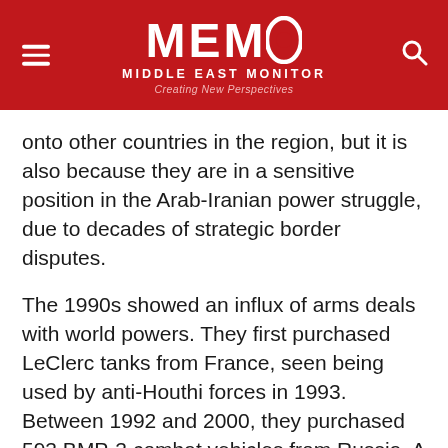MEMO MIDDLE EAST MONITOR Creating New Perspectives
onto other countries in the region, but it is also because they are in a sensitive position in the Arab-Iranian power struggle, due to decades of strategic border disputes.
The 1990s showed an influx of arms deals with world powers. They first purchased LeClerc tanks from France, seen being used by anti-Houthi forces in 1993. Between 1992 and 2000, they purchased 593 BMP-3 combat vehicles from Russia. A defence cooperation accord between the UAE and the UK was signed in 1996, but under the governments of Blair and Brown, little was done to materialise the